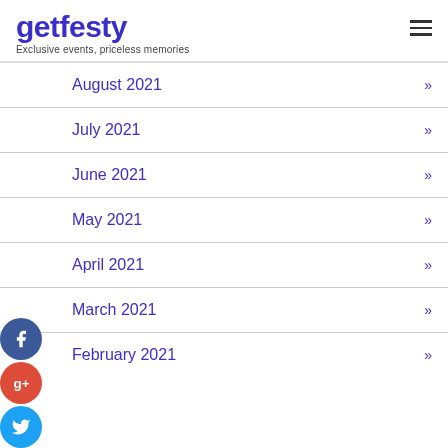getfesty — Exclusive events, priceless memories
August 2021
July 2021
June 2021
May 2021
April 2021
March 2021
February 2021